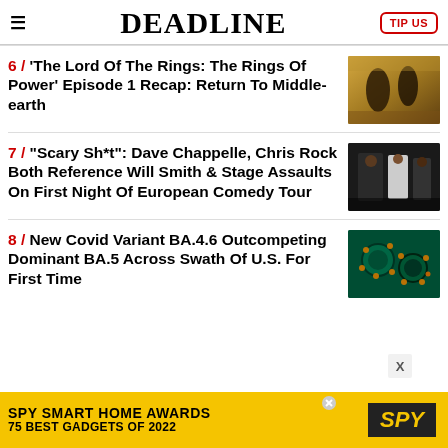DEADLINE
6 / 'The Lord Of The Rings: The Rings Of Power' Episode 1 Recap: Return To Middle-earth
[Figure (photo): Scene from The Lord of the Rings: The Rings of Power, two figures in dark robes in golden-lit setting]
7 / "Scary Sh*t": Dave Chappelle, Chris Rock Both Reference Will Smith & Stage Assaults On First Night Of European Comedy Tour
[Figure (photo): Dave Chappelle and Chris Rock at an event, men in suits]
8 / New Covid Variant BA.4.6 Outcompeting Dominant BA.5 Across Swath Of U.S. For First Time
[Figure (photo): Microscopic image of Covid virus particles on green background]
[Figure (infographic): SPY Smart Home Awards advertisement banner: SPY SMART HOME AWARDS 75 BEST GADGETS OF 2022]